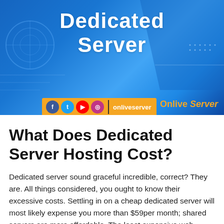[Figure (illustration): Banner image with blue technology/circuit background and white bold text reading 'Dedicated Server'. Social media icons bar (Facebook, Twitter, YouTube, Instagram) with 'onliveserver' text on orange background. Brand name 'Onlive Server' in orange text.]
What Does Dedicated Server Hosting Cost?
Dedicated server sound graceful incredible, correct? They are. All things considered, you ought to know their excessive costs. Settling in on a cheap dedicated server will most likely expense you more than $59per month; shared servers are more affordable. The least expensive web hosting administrations will rent you space on the web for well under $11 each month. You'll have to deal with